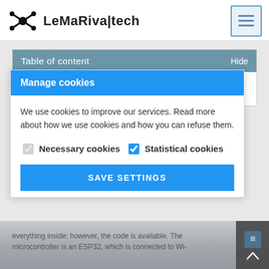LeMaRiva|tech
Table of content   Hide
Software and Hardware
Manage cookies
We use cookies to improve our services. Read more about how we use cookies and how you can refuse them.
Necessary cookies   Statistical cookies
SAVE SETTINGS
everything inside; however, the code is available. The microcontroller is an ESP32, which is connected to Wi-